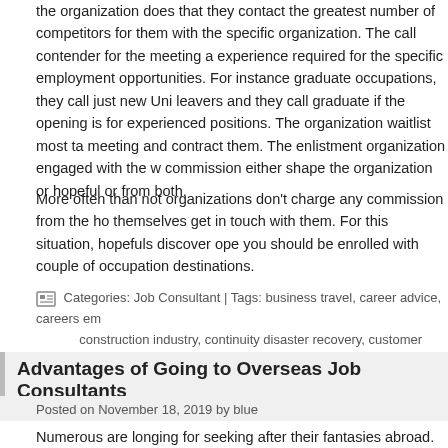the organization does that they contact the greatest number of competitors for them with the specific organization. The call contender for the meeting a experience required for the specific employment opportunities. For instance graduate occupations, they call just new Uni leavers and they call graduate if the opening is for experienced positions. The organization waitlist most ta meeting and contract them. The enlistment organization engaged with the w commission either shape the organization or hopeful or from both.
More often than not organizations don't charge any commission from the ho themselves get in touch with them. For this situation, hopefuls discover ope you should be enrolled with couple of occupation destinations.
Categories: Job Consultant | Tags: business travel, career advice, careers em construction industry, continuity disaster recovery, customer service
Advantages of Going to Overseas Job Consultants
Posted on November 18, 2019 by blue
Numerous are longing for seeking after their fantasies abroad. They trust th future for their families in the event that they go and land a position on an a that they would already be able to apply straightforwardly on the web, the va like to experience abroad occupation experts for such huge numbers of rea